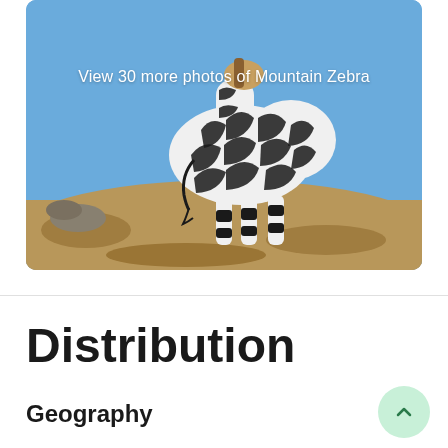[Figure (photo): A mountain zebra standing on dry grassland with a blue sky background. The zebra is viewed from behind/side showing its distinctive black and white stripes. Text overlay reads 'View 30 more photos of Mountain Zebra'.]
Distribution
Geography